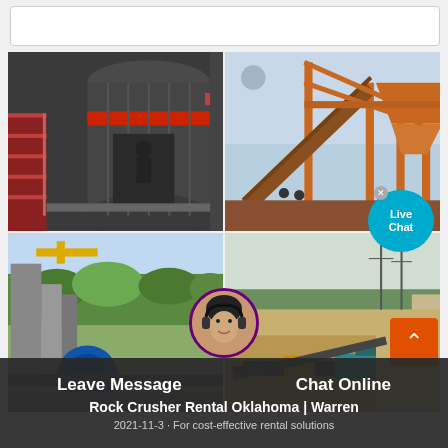[Figure (photo): Top bar / partial UI element at top of page]
[Figure (photo): Four-panel grid of industrial machinery and quarry/mining site photos. Top-left: close-up of a large industrial grinding mill or crusher machine (dark grey with red accents, stairs visible). Top-right: orange conveyor belt structure and industrial plant equipment. Bottom-left: industrial plant facility with green trees in background, heavy equipment visible. Bottom-right: open-pit quarry or sand extraction site with machinery and conveyor belts.]
[Figure (infographic): Live Chat speech bubble overlay on top-right photo, with close X button]
[Figure (infographic): Orange scroll-to-top chevron button in bottom-right]
[Figure (photo): Customer service agent avatar circle with purple border at bottom center]
Rock Crusher Rental Oklahoma | Warren
Leave Message
Chat Online
2021-11-3 · For cost-effective rental solutions